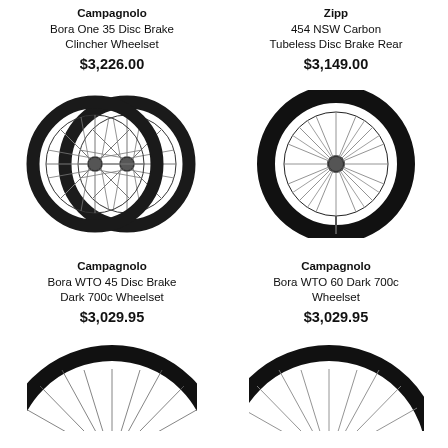Campagnolo Bora One 35 Disc Brake Clincher Wheelset
$3,226.00
[Figure (photo): Two carbon road bike wheels side by side - Campagnolo Bora One 35 Disc Brake Clincher Wheelset]
Zipp 454 NSW Carbon Tubeless Disc Brake Rear
$3,149.00
[Figure (photo): Single large carbon road bike wheel - Zipp 454 NSW Carbon Tubeless Disc Brake Rear]
Campagnolo Bora WTO 45 Disc Brake Dark 700c Wheelset
$3,029.95
[Figure (photo): Partial view of carbon road bike wheel top - Campagnolo Bora WTO 45 Disc Brake Dark 700c Wheelset]
Campagnolo Bora WTO 60 Dark 700c Wheelset
$3,029.95
[Figure (photo): Partial view of carbon road bike wheel - Campagnolo Bora WTO 60 Dark 700c Wheelset]